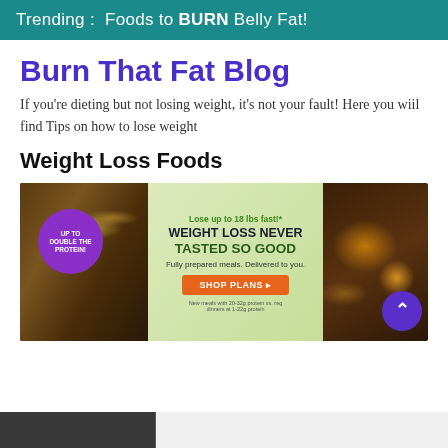Trending :  Foods to BURN Belly Fat!
Burn That Fat Blog
If you're dieting but not losing weight, it's not your fault! Here you wiil find Tips on how to lose weight
Weight Loss Foods
[Figure (photo): Advertisement banner for a meal delivery service. Shows two food dishes in pans on either side. Left side has a purple circle badge reading 'UP TO DOUBLE THE PROTEIN!'. Center text reads 'Lose up to 18 lbs fast!* WEIGHT LOSS NEVER TASTED SO GOOD. Fully prepared meals. Delivered to you.' with an orange 'SHOP PLANS' button. Right side shows a purple scroll-to-top button. Small disclaimer text at bottom: 'New meals with 20-32g protein vs. reg dinners at 1-22g protein']